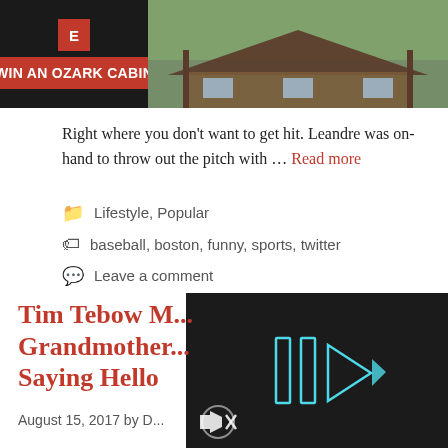[Figure (photo): Advertisement banner for 'Win an Ozark Cabin' with red button on dark background and a cabin photo on the right]
Right where you don't want to get hit. Leandre was on-hand to throw out the pitch with … Read more
Lifestyle, Popular
baseball, boston, funny, sports, twitter
Leave a comment
Tim Tebow M... Grandmother... Saying Hello
August 15, 2017 by D...
[Figure (screenshot): Dark video player overlay with blue play button icon and mute icon]